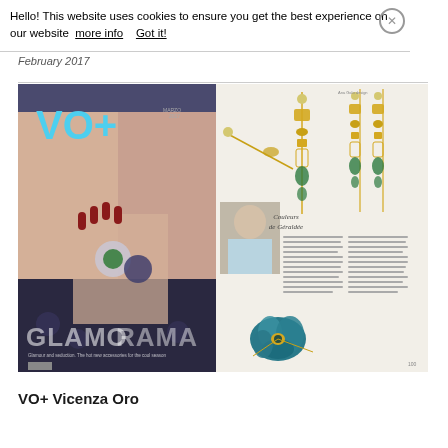Hello! This website uses cookies to ensure you get the best experience on our website  more info   Got it!
February 2017
[Figure (photo): Two-page spread showing VO+ Vicenza Oro magazine cover on the left (fashion model with rings, GLAMOURAMA headline) and interior jewelry feature pages on the right showing earrings and a flower brooch with article titled 'Couleurs de Géraldée']
VO+ Vicenza Oro